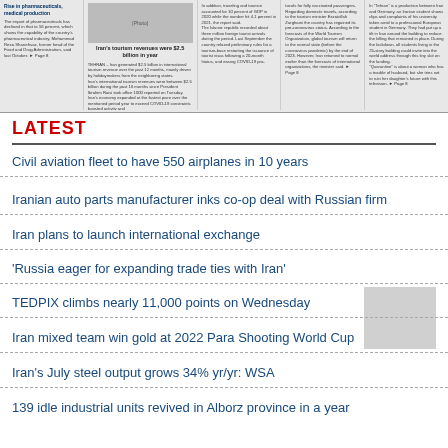[Figure (other): Newspaper top section with multiple columns of news articles about Iran's tourism revenues ($2.5 billion in year), pharmaceuticals, and other topics. Includes a central headline and small photo.]
LATEST
Civil aviation fleet to have 550 airplanes in 10 years
Iranian auto parts manufacturer inks co-op deal with Russian firm
Iran plans to launch international exchange
'Russia eager for expanding trade ties with Iran'
TEDPIX climbs nearly 11,000 points on Wednesday
Iran mixed team win gold at 2022 Para Shooting World Cup
Iran's July steel output grows 34% yr/yr: WSA
139 idle industrial units revived in Alborz province in a year